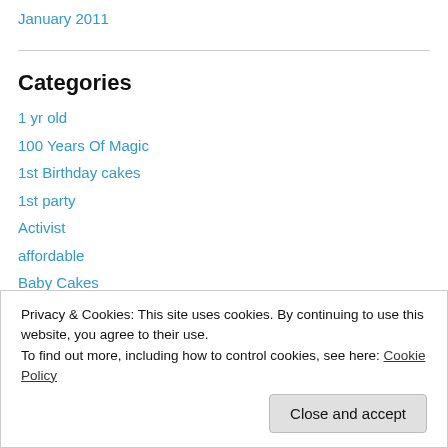January 2011
Categories
1 yr old
100 Years Of Magic
1st Birthday cakes
1st party
Activist
affordable
Baby Cakes
Back to school
Privacy & Cookies: This site uses cookies. By continuing to use this website, you agree to their use.
To find out more, including how to control cookies, see here: Cookie Policy
bonding